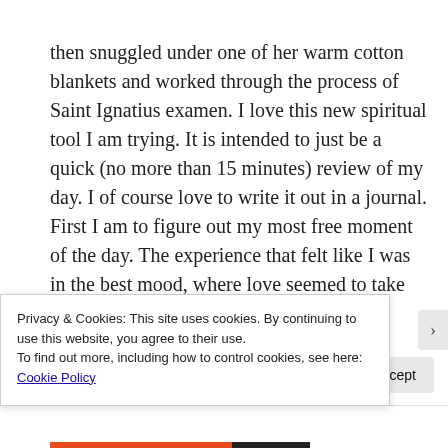then snuggled under one of her warm cotton blankets and worked through the process of Saint Ignatius examen. I love this new spiritual tool I am trying. It is intended to just be a quick (no more than 15 minutes) review of my day. I of course love to write it out in a journal. First I am to figure out my most free moment of the day. The experience that felt like I was in the best mood, where love seemed to take over. Perhaps a moment where I felt inspiration/good and holy passion and
Privacy & Cookies: This site uses cookies. By continuing to use this website, you agree to their use.
To find out more, including how to control cookies, see here: Cookie Policy
Close and accept